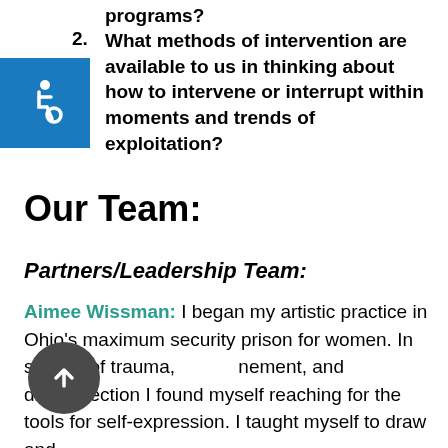programs?
2. What methods of intervention are available to us in thinking about how to intervene or interrupt within moments and trends of exploitation?
Our Team:
Partners/Leadership Team:
Aimee Wissman: I began my artistic practice in Ohio's maximum security prison for women. In spaces of trauma, confinement, and disconnection I found myself reaching for the tools for self-expression. I taught myself to draw and